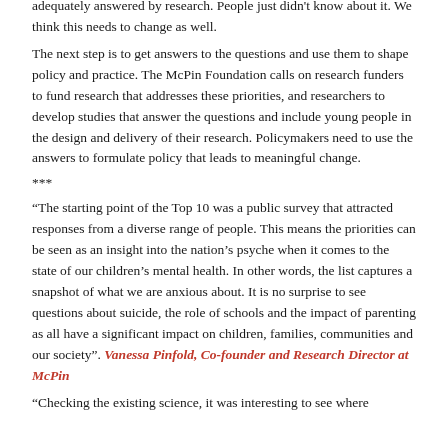adequately answered by research. People just didn't know about it. We think this needs to change as well. The next step is to get answers to the questions and use them to shape policy and practice. The McPin Foundation calls on research funders to fund research that addresses these priorities, and researchers to develop studies that answer the questions and include young people in the design and delivery of their research. Policymakers need to use the answers to formulate policy that leads to meaningful change.
***
“The starting point of the Top 10 was a public survey that attracted responses from a diverse range of people. This means the priorities can be seen as an insight into the nation’s psyche when it comes to the state of our children’s mental health. In other words, the list captures a snapshot of what we are anxious about. It is no surprise to see questions about suicide, the role of schools and the impact of parenting as all have a significant impact on children, families, communities and our society”. Vanessa Pinfold, Co-founder and Research Director at McPin
“Checking the existing science, it was interesting to see where